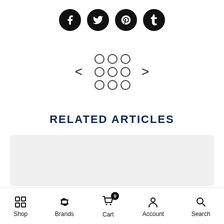[Figure (infographic): Four social media icons (Facebook, Twitter, Pinterest, Tumblr) as white symbols on black circles]
[Figure (infographic): Carousel navigation with left arrow, 3x3 grid of open circles (dot indicators), and right arrow]
RELATED ARTICLES
[Figure (infographic): Gray placeholder article card]
Shop  Brands  Cart  Account  Search